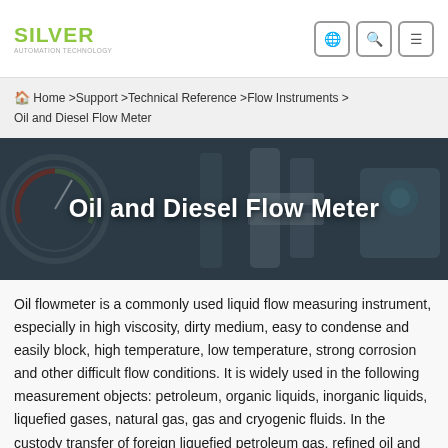SILVER [logo] — navigation icons: globe, search, menu
🏠 Home >Support >Technical Reference >Flow Instruments > Oil and Diesel Flow Meter
[Figure (photo): Hero banner image showing industrial flow meter equipment (pressure gauges, metal cylinders, fittings) with dark overlay. Title text: Oil and Diesel Flow Meter]
Oil flowmeter is a commonly used liquid flow measuring instrument, especially in high viscosity, dirty medium, easy to condense and easily block, high temperature, low temperature, strong corrosion and other difficult flow conditions. It is widely used in the following measurement objects: petroleum, organic liquids, inorganic liquids, liquefied gases, natural gas, gas and cryogenic fluids. In the custody transfer of foreign liquefied petroleum gas, refined oil and light crude